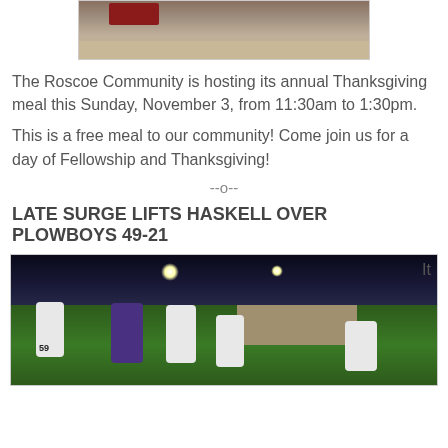[Figure (photo): Partial photo of a parking lot area with a red truck visible, top of page]
The Roscoe Community is hosting its annual Thanksgiving meal this Sunday, November 3, from 11:30am to 1:30pm.
This is a free meal to our community! Come join us for a day of Fellowship and Thanksgiving!
--o--
LATE SURGE LIFTS HASKELL OVER PLOWBOYS 49-21
[Figure (photo): Night football game photo showing players on a green field with stadium lights and a building in the background. Player wearing #59 visible on left side.]